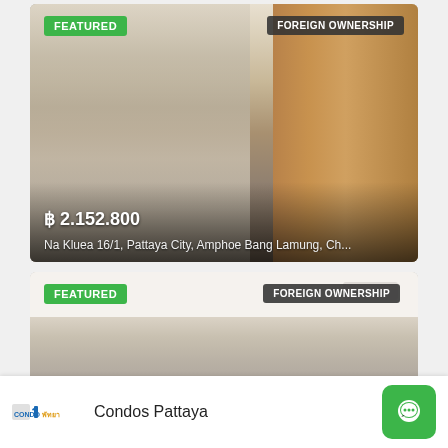[Figure (photo): Interior photo of a furnished condo room with wooden panels, curtains, and a bedroom visible through a door. Badges: FEATURED (green, top-left), FOREIGN OWNERSHIP (dark, top-right). Price and address overlaid at bottom.]
฿ 2.152.800
Na Kluea 16/1, Pattaya City, Amphoe Bang Lamung, Ch...
[Figure (photo): Interior photo of a condo room showing white ceiling, curtains, and an air conditioning unit. Badges: FEATURED (green, top-left), FOREIGN OWNERSHIP (dark, top-right).]
Condos Pattaya